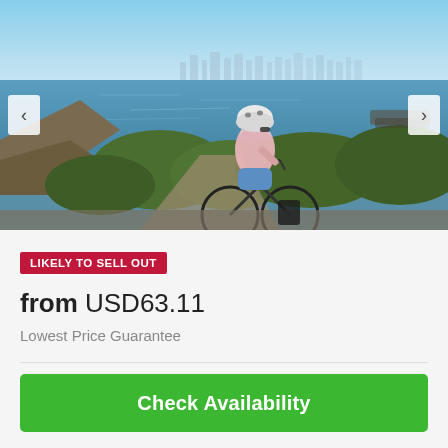[Figure (photo): A person wearing a white helmet and pink shirt riding a bicycle on a coastal path with sea and city skyline in the background on a sunny day.]
LIKELY TO SELL OUT
from USD63.11
Lowest Price Guarantee
Check Availability